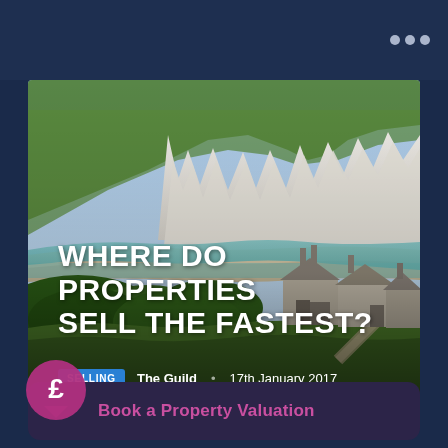...
[Figure (photo): Scenic coastal photo showing Seven Sisters white chalk cliffs, turquoise sea, beach, and foreground cottages with chimneys surrounded by green hedges and grass, with a dirt path visible]
WHERE DO PROPERTIES SELL THE FASTEST?
SELLING  The Guild  17th January 2017
Book a Property Valuation